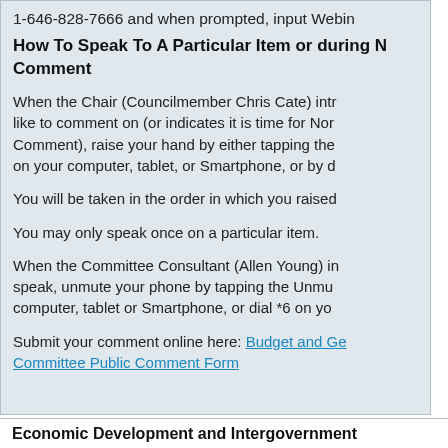1-646-828-7666 and when prompted, input Webin
How To Speak To A Particular Item or during Non-Agenda Public Comment
When the Chair (Councilmember Chris Cate) introduces the item you would like to comment on (or indicates it is time for Non-Agenda Public Comment), raise your hand by either tapping the raise your hand button on your computer, tablet, or Smartphone, or by dialing *9.
You will be taken in the order in which you raised your hand.
You may only speak once on a particular item.
When the Committee Consultant (Allen Young) indicates it is your time to speak, unmute your phone by tapping the Unmute button on your computer, tablet or Smartphone, or dial *6 on your phone.
Submit your comment online here: Budget and Government Efficiency Committee Public Comment Form
Economic Development and Intergovernment